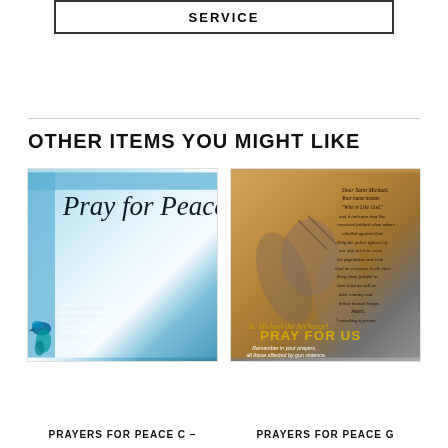SERVICE
OTHER ITEMS YOU MIGHT LIKE
[Figure (photo): Pray for Peace prayer card with blue watercolor background, cursive title text, small dove illustration at bottom left, and small prayer text]
[Figure (photo): St. Michael the Archangel prayer card with brown/gold background, angel figure, handwritten prayer text, and bold PRAY FOR US text at bottom]
PRAYERS FOR PEACE C –
PRAYERS FOR PEACE G